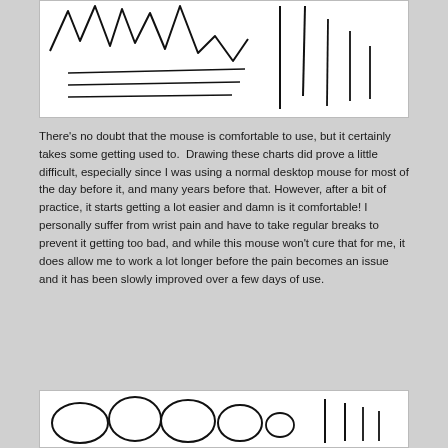[Figure (illustration): Hand-drawn sketch showing jagged/irregular lines at the top resembling an ECG or chart trace, with three horizontal lines below them, and vertical lines on the right side.]
There's no doubt that the mouse is comfortable to use, but it certainly takes some getting used to. Drawing these charts did prove a little difficult, especially since I was using a normal desktop mouse for most of the day before it, and many years before that. However, after a bit of practice, it starts getting a lot easier and damn is it comfortable! I personally suffer from wrist pain and have to take regular breaks to prevent it getting too bad, and while this mouse won't cure that for me, it does allow me to work a lot longer before the pain becomes an issue and it has been slowly improved over a few days of use.
[Figure (illustration): Hand-drawn sketch showing rounded/circular shapes and vertical lines, resembling another freehand chart or drawing.]